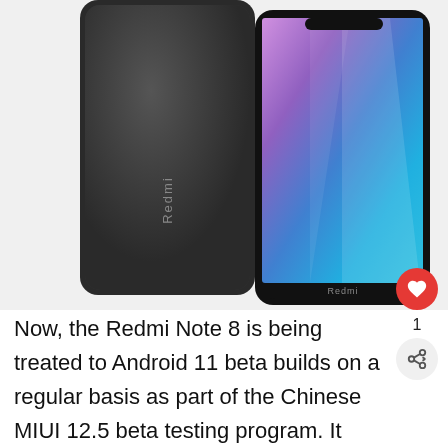[Figure (photo): Two Redmi Note 8 smartphones shown side by side — the left one showing the dark grey back with 'Redmi' branding, the right one showing the front display with a colorful blue/purple/pink gradient wallpaper against a black frame also labeled 'Redmi'. A red heart/like button is visible on the right side.]
Now, the Redmi Note 8 is being treated to Android 11 beta builds on a regular basis as part of the Chinese MIUI 12.5 beta testing program. It isn't